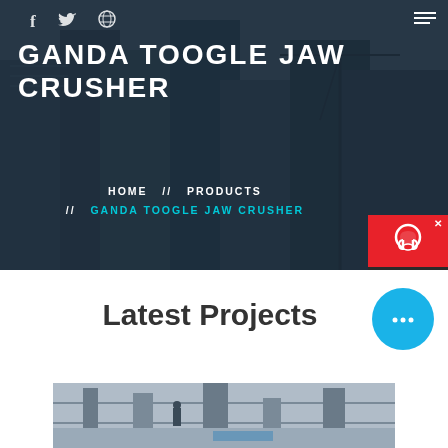[Figure (screenshot): Hero banner with construction site background (buildings under construction with cranes), dark overlay, white bold title 'GANDA TOOGLE JAW CRUSHER', social media icons (f, twitter bird, dribbble), hamburger menu icon, breadcrumb navigation HOME // PRODUCTS // GANDA TOOGLE JAW CRUSHER, and a red chat widget on the right side]
GANDA TOOGLE JAW CRUSHER
HOME // PRODUCTS // GANDA TOOGLE JAW CRUSHER
Latest Projects
[Figure (photo): Industrial/construction facility interior image showing machinery and structural elements]